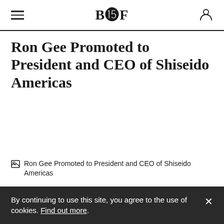BOF
Ron Gee Promoted to President and CEO of Shiseido Americas
[Figure (photo): Broken image placeholder showing alt text: Ron Gee Promoted to President and CEO of Shiseido Americas]
By continuing to use this site, you agree to the use of cookies. Find out more.